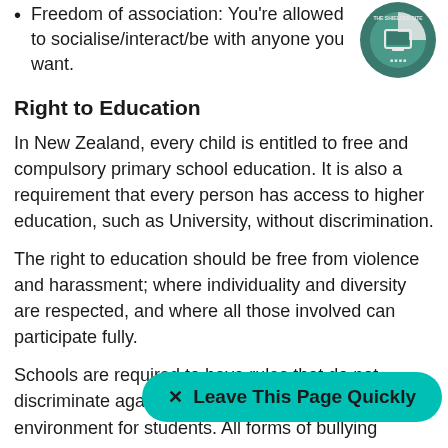Freedom of association: You're allowed to socialise/interact/be with anyone you want.
[Figure (logo): The Shielded Site logo badge — circular teal/green badge with a computer monitor icon and text 'THE SHIELDED SITE']
Right to Education
In New Zealand, every child is entitled to free and compulsory primary school education. It is also a requirement that every person has access to higher education, such as University, without discrimination.
The right to education should be free from violence and harassment; where individuality and diversity are respected, and where all those involved can participate fully.
Schools are required to have rules that do not discriminate against... provide a safe and b... environment for students. All forms of bullying